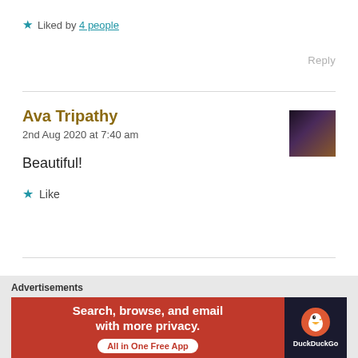★ Liked by 4 people
Reply
Ava Tripathy
2nd Aug 2020 at 7:40 am
Beautiful!
★ Like
Ava Tripathy
Advertisements
Search, browse, and email with more privacy. All in One Free App